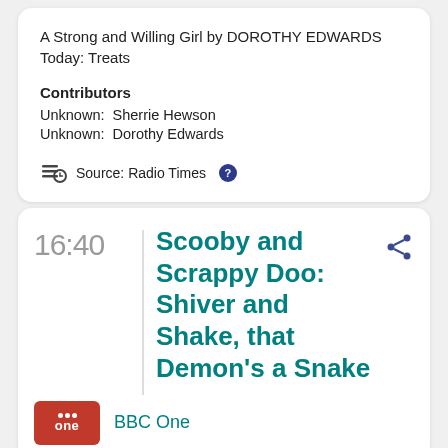A Strong and Willing Girl by DOROTHY EDWARDS Today: Treats
Contributors
Unknown:  Sherrie Hewson
Unknown:  Dorothy Edwards
Source: Radio Times
16:40
Scooby and Scrappy Doo: Shiver and Shake, that Demon's a Snake
BBC One